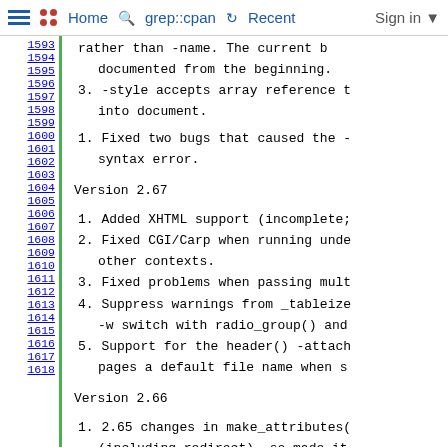Home  grep::cpan  Recent  Sign in
rather than -name. The current b documented from the beginning.
3. -style accepts array reference t into document.
1. Fixed two bugs that caused the - syntax error.
Version 2.67
1. Added XHTML support (incomplete;
2. Fixed CGI/Carp when running unde other contexts.
3. Fixed problems when passing mult
4. Suppress warnings from _tableize -w switch with radio_group() and
5. Support for the header() -attach pages a default file name when s
Version 2.66
1. 2.65 changes in make_attributes( (including redirect), so made it
Version 2.65
1. Fixed regression tests to skip.